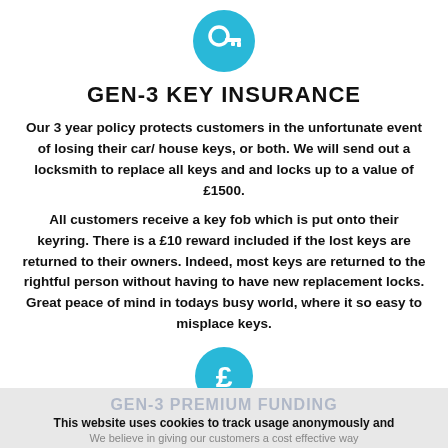[Figure (illustration): Cyan/blue circle with a white key icon inside, representing key insurance]
GEN-3 KEY INSURANCE
Our 3 year policy protects customers in the unfortunate event of losing their car/ house keys, or both. We will send out a locksmith to replace all keys and and locks up to a value of £1500.
All customers receive a key fob which is put onto their keyring. There is a £10 reward included if the lost keys are returned to their owners. Indeed, most keys are returned to the rightful person without having to have new replacement locks. Great peace of mind in todays busy world, where it so easy to misplace keys.
[Figure (illustration): Cyan/blue circle with a white pound sterling (£) symbol inside]
GEN-3 PREMIUM FUNDING
This website uses cookies to track usage anonymously and
We believe in giving our customers a cost effective way